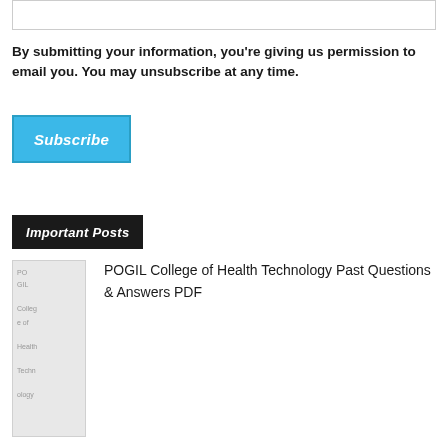By submitting your information, you're giving us permission to email you. You may unsubscribe at any time.
[Figure (other): Subscribe button — blue rectangular button with italic white text 'Subscribe']
Important Posts
[Figure (photo): Thumbnail image for POGIL College of Health Technology Past Questions & Answers PDF]
POGIL College of Health Technology Past Questions & Answers PDF